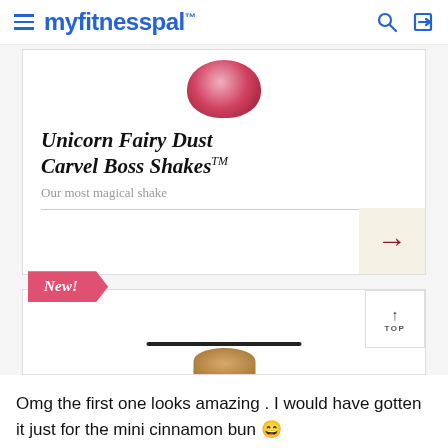myfitnesspal
[Figure (screenshot): MyFitnessPal app screenshot showing a product card for 'Unicorn Fairy Dust Carvel Boss Shakes TM' with tagline 'Our most magical shake', a right-arrow navigation button, a 'New!' ribbon badge, a back-to-top button, and a partially visible product image at the bottom.]
Omg the first one looks amazing . I would have gotten it just for the mini cinnamon bun 😄